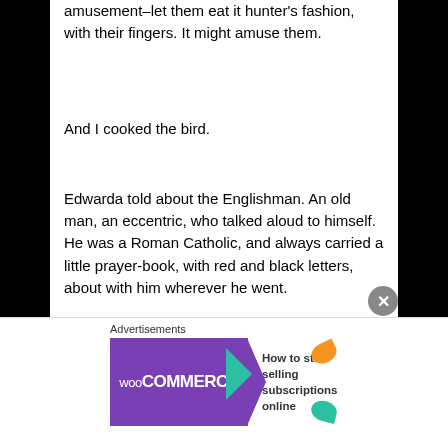amusement–let them eat it hunter's fashion, with their fingers. It might amuse them.
And I cooked the bird.
Edwarda told about the Englishman. An old man, an eccentric, who talked aloud to himself. He was a Roman Catholic, and always carried a little prayer-book, with red and black letters, about with him wherever he went.
“Was he an Irishman then?” asked the Doctor.
“An Irishman…?”
Advertisements
[Figure (other): WooCommerce advertisement banner: purple background with WooCommerce logo and teal arrow, text reads 'How to start selling subscriptions online']